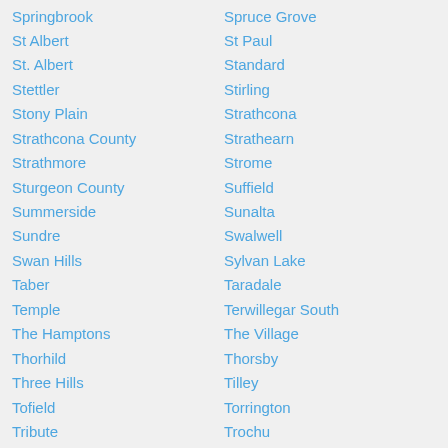Springbrook
St Albert
St. Albert
Stettler
Stony Plain
Strathcona County
Strathmore
Sturgeon County
Summerside
Sundre
Swan Hills
Taber
Temple
The Hamptons
Thorhild
Three Hills
Tofield
Tribute
Turin
Two Hills
Vauxhall
Vermilion
Victoria Park
Spruce Grove
St Paul
Standard
Stirling
Strathcona
Strathearn
Strome
Suffield
Sunalta
Swalwell
Sylvan Lake
Taradale
Terwillegar South
The Village
Thorsby
Tilley
Torrington
Trochu
Turner Valley
Valleyview
Vegreville
Veteran
Viking